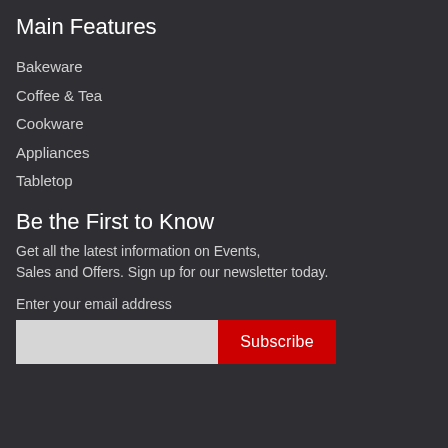Main Features
Bakeware
Coffee & Tea
Cookware
Appliances
Tabletop
Be the First to Know
Get all the latest information on Events, Sales and Offers. Sign up for our newsletter today.
Enter your email address